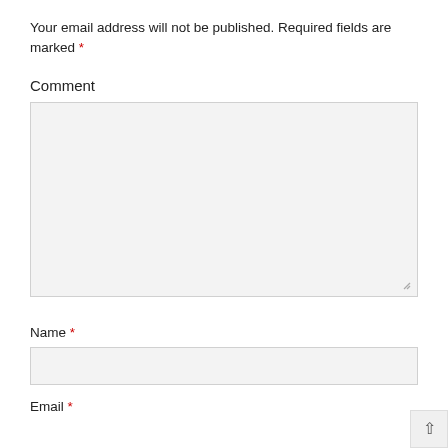Your email address will not be published. Required fields are marked *
Comment
[Figure (screenshot): Empty comment textarea input field with light gray background and resize handle at bottom-right]
Name *
[Figure (screenshot): Empty name text input field with light gray background]
Email *